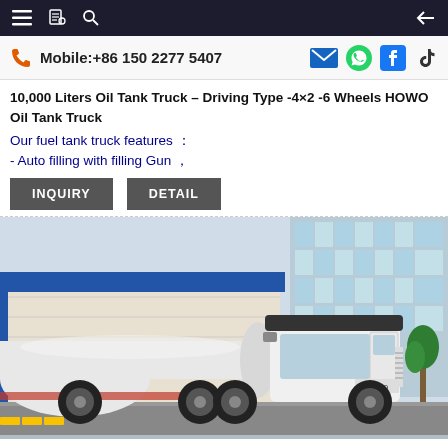Navigation bar with menu, book, search icons and back arrow
Mobile:+86 150 2277 5407
10,000 Liters Oil Tank Truck – Driving Type -4×2 -6 Wheels HOWO Oil Tank Truck
Our fuel tank truck features :
- Auto filling with filling Gun ,
INQUIRY
DETAIL
[Figure (photo): White HOWO 10,000 Liter oil tank truck parked in front of a modern building with blue glass facade and a smaller blue-roofed warehouse structure. The truck has a large cylindrical silver tank on the back.]